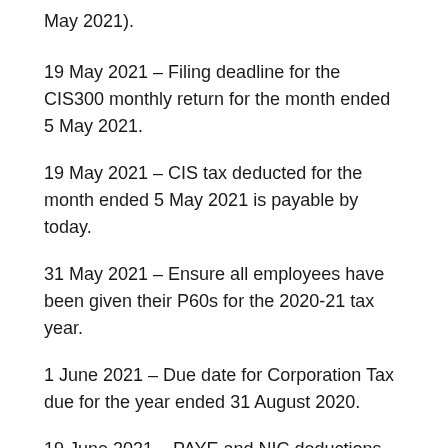May 2021).
19 May 2021 – Filing deadline for the CIS300 monthly return for the month ended 5 May 2021.
19 May 2021 – CIS tax deducted for the month ended 5 May 2021 is payable by today.
31 May 2021 – Ensure all employees have been given their P60s for the 2020-21 tax year.
1 June 2021 – Due date for Corporation Tax due for the year ended 31 August 2020.
19 June 2021 – PAYE and NIC deductions due for month ended 5 June 2021. (If you pay your tax electronically the due date is 22 June 2021)
19 June 2021 – Filing deadline for the CIS300 monthly return for the month ended 5 June 2021.
19 June 2021 – CIS tax deducted for the month ended 5 June